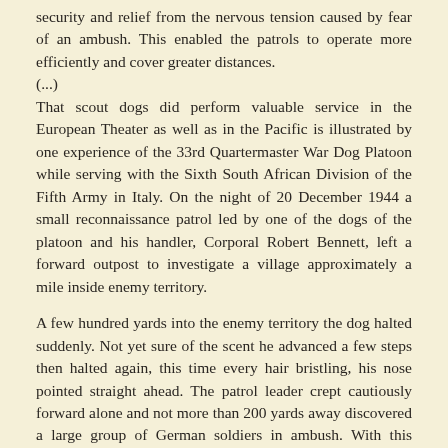security and relief from the nervous tension caused by fear of an ambush. This enabled the patrols to operate more efficiently and cover greater distances.
(...)
That scout dogs did perform valuable service in the European Theater as well as in the Pacific is illustrated by one experience of the 33rd Quartermaster War Dog Platoon while serving with the Sixth South African Division of the Fifth Army in Italy. On the night of 20 December 1944 a small reconnaissance patrol led by one of the dogs of the platoon and his handler, Corporal Robert Bennett, left a forward outpost to investigate a village approximately a mile inside enemy territory.
A few hundred yards into the enemy territory the dog halted suddenly. Not yet sure of the scent he advanced a few steps then halted again, this time every hair bristling, his nose pointed straight ahead. The patrol leader crept cautiously forward alone and not more than 200 yards away discovered a large group of German soldiers in ambush. With this valuable